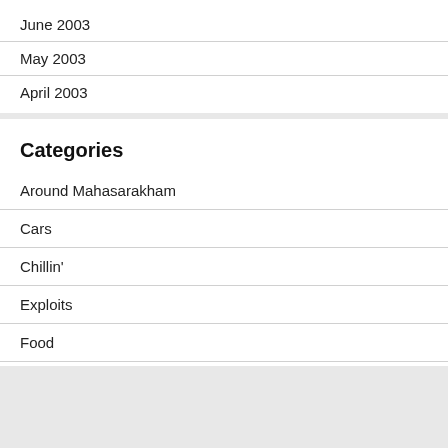June 2003
May 2003
April 2003
Categories
Around Mahasarakham
Cars
Chillin'
Exploits
Food